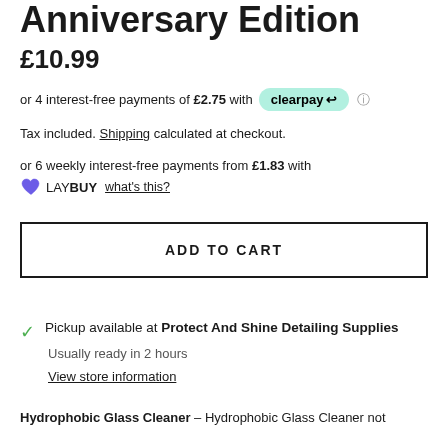Anniversary Edition
£10.99
or 4 interest-free payments of £2.75 with clearpay
Tax included. Shipping calculated at checkout.
or 6 weekly interest-free payments from £1.83 with LAYBUY what's this?
ADD TO CART
Pickup available at Protect And Shine Detailing Supplies
Usually ready in 2 hours
View store information
Hydrophobic Glass Cleaner – Hydrophobic Glass Cleaner not